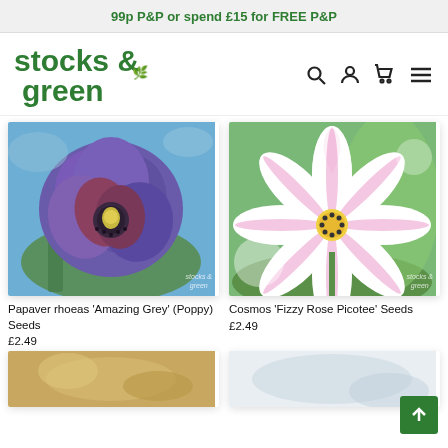99p P&P or spend £15 for FREE P&P
[Figure (logo): Stocks & Green logo with leaf icon in green]
[Figure (photo): Purple/violet poppy flower close-up with green background, Stocks & Green watermark]
Papaver rhoeas 'Amazing Grey' (Poppy) Seeds
£2.49
[Figure (photo): Pink cosmos flower close-up with white petals and green background, Stocks & Green watermark]
Cosmos 'Fizzy Rose Picotee' Seeds
£2.49
[Figure (photo): Bottom-left partially visible product image]
[Figure (photo): Bottom-right partially visible product image]